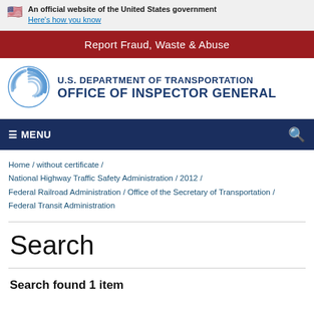An official website of the United States government
Here's how you know
Report Fraud, Waste & Abuse
[Figure (logo): U.S. Department of Transportation Office of Inspector General logo with circular swirl graphic]
☰ MENU
Home / without certificate / National Highway Traffic Safety Administration / 2012 / Federal Railroad Administration / Office of the Secretary of Transportation / Federal Transit Administration
Search
Search found 1 item